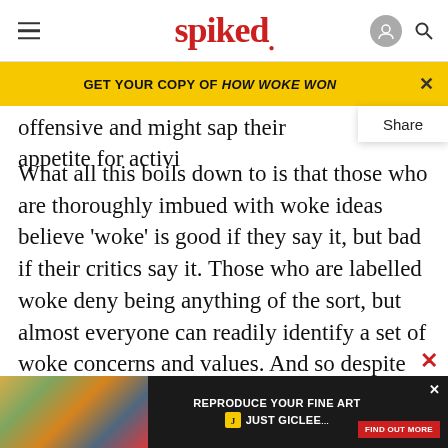spiked
GET YOUR COPY OF HOW WOKE WON
offensive and might sap their appetite for activi Share
What all this boils down to is that those who are thoroughly imbued with woke ideas believe ‘woke’ is good if they say it, but bad if their critics say it. Those who are labelled woke deny being anything of the sort, but almost everyone can readily identify a set of woke concerns and values. And so despite few people claiming to be woke, woke values dominate our
institutions. Here we will trace this most alarming
ABOUT
[Figure (screenshot): Advertisement banner: REPRODUCE YOUR FINE ART - JUST GICLEE with Find Out More button]